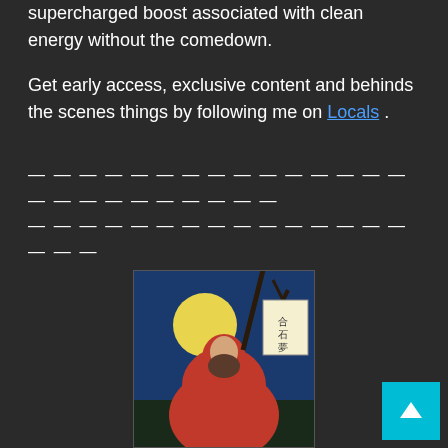supercharged boost associated with clean energy without the comedown.
Get early access, exclusive content and behinds the scenes things by following me on Locals .
— — — — — — — — — — — — — — — — — — — — — — — — —
— — — — — — — — — — — — — — — — — —
[Figure (photo): Japanese woodblock-style painting of a bearded figure in a red robe sitting under a tree with a full moon]
thecryptokang
See author's posts